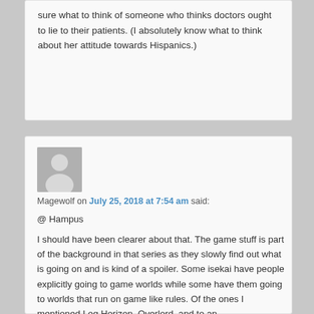sure what to think of someone who thinks doctors ought to lie to their patients. (I absolutely know what to think about her attitude towards Hispanics.)
Magewolf on July 25, 2018 at 7:54 am said:
@ Hampus
I should have been clearer about that. The game stuff is part of the background in that series as they slowly find out what is going on and is kind of a spoiler. Some isekai have people explicitly going to game worlds while some have them going to worlds that run on game like rules. Of the ones I mentioned Log Horizon, Overlord, and to an